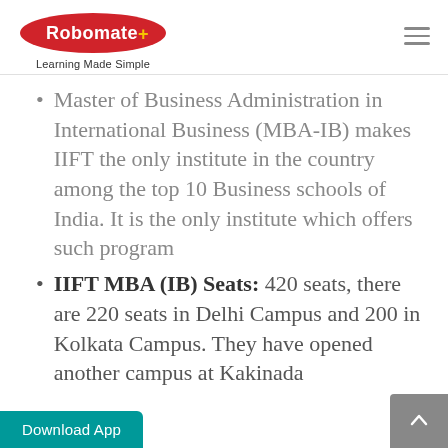[Figure (logo): Robomate+ logo: red oval with white text 'Robomate' and yellow '+' sign, with tagline 'Learning Made Simple' below]
Master of Business Administration in International Business (MBA-IB) makes IIFT the only institute in the country among the top 10 Business schools of India. It is the only institute which offers such program
IIFT MBA (IB) Seats: 420 seats, there are 220 seats in Delhi Campus and 200 in Kolkata Campus. They have opened another campus at Kakinada